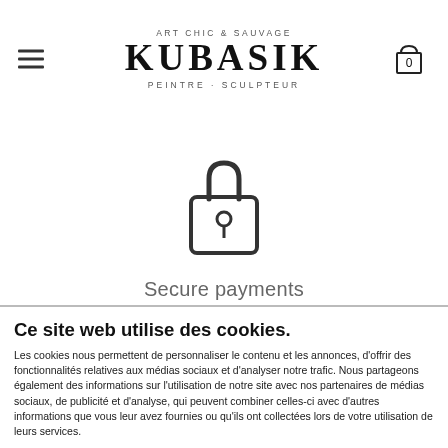ART CHIC & SAUVAGE KUBASIK PEINTRE · SCULPTEUR
[Figure (illustration): Padlock icon with rounded square body, shackle on top, and keyhole in center]
Secure payments
Ce site web utilise des cookies.
Les cookies nous permettent de personnaliser le contenu et les annonces, d'offrir des fonctionnalités relatives aux médias sociaux et d'analyser notre trafic. Nous partageons également des informations sur l'utilisation de notre site avec nos partenaires de médias sociaux, de publicité et d'analyse, qui peuvent combiner celles-ci avec d'autres informations que vous leur avez fournies ou qu'ils ont collectées lors de votre utilisation de leurs services.
Autoriser tous les cookies
Autoriser la sélection
Cookies nécessaires uniquement
Nécessaires  Préférences  Statistiques  Marketing  Afficher les détails